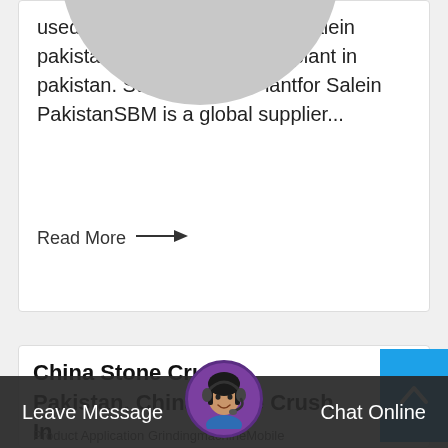usedcrushing plant machinerysalein pakistan. used stonecrusher plant in pakistan. StoneCrusher Plantfor Salein PakistanSBM is a global supplier...
Read More →
[Figure (illustration): Large circular gray placeholder image overlapping two content cards]
China Stone CrushIn Pakistan, China Stone Crush In
Product Application GrindingmachineMobile
Leave Message
[Figure (photo): Chat avatar: woman with headset on purple circular background]
Chat Online